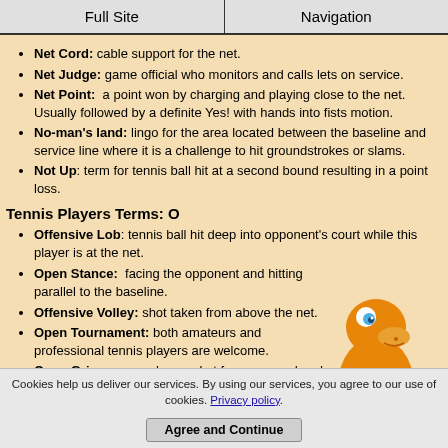Full Site | Navigation
Net Cord: cable support for the net.
Net Judge: game official who monitors and calls lets on service.
Net Point: a point won by charging and playing close to the net. Usually followed by a definite Yes! with hands into fists motion.
No-man's land: lingo for the area located between the baseline and service line where it is a challenge to hit groundstrokes or slams.
Not Up: term for tennis ball hit at a second bound resulting in a point loss.
Tennis Players Terms: O
Offensive Lob: tennis ball hit deep into opponent's court while this player is at the net.
Open Stance: facing the opponent and hitting parallel to the baseline.
Offensive Volley: shot taken from above the net.
Open Tournament: both amateurs and professional tennis players are welcome.
Open Grip: occurs when racket faces upward and away from the court.
Open Racket: occurs when racket is...
[Figure (illustration): Cartoon mascot: an orange lizard/gecko character wearing a blue vest, holding a green tennis ball, standing upright.]
Cookies help us deliver our services. By using our services, you agree to our use of cookies. Privacy policy. Agree and Continue